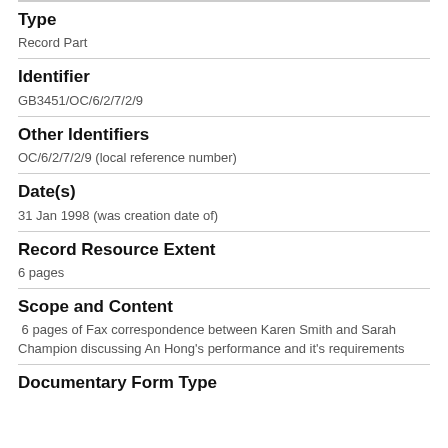Type
Record Part
Identifier
GB3451/OC/6/2/7/2/9
Other Identifiers
OC/6/2/7/2/9 (local reference number)
Date(s)
31 Jan 1998 (was creation date of)
Record Resource Extent
6 pages
Scope and Content
6 pages of Fax correspondence between Karen Smith and Sarah Champion discussing An Hong's performance and it's requirements
Documentary Form Type